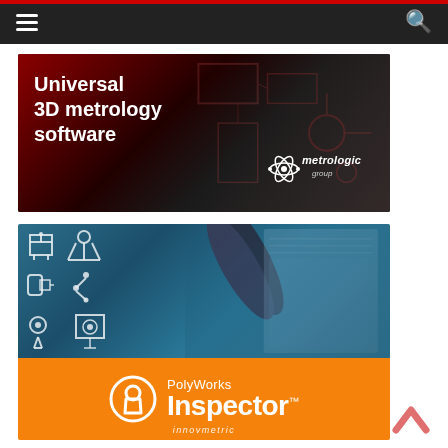Navigation bar with hamburger menu and search icon
[Figure (illustration): Advertisement banner for Metrologic Group — 'Universal 3D metrology software' on dark red/black background with Metrologic Group logo on the right]
[Figure (illustration): Advertisement banner for PolyWorks Inspector by Innovmetric — top half shows blue-tinted photo of scanning instrument with equipment icons; bottom orange band shows PolyWorks Inspector logo and Innovmetric brand name]
[Figure (other): Scroll-to-top chevron arrow icon in salmon/coral color, bottom right corner]